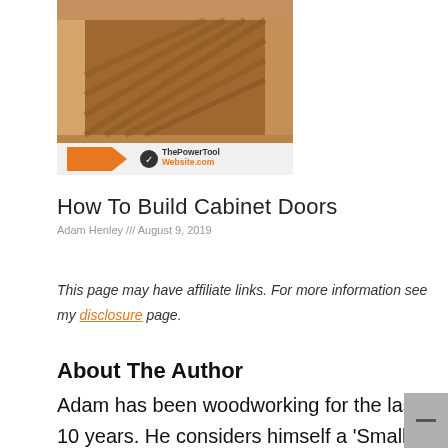[Figure (photo): Photo of wooden cabinet door frame construction with herringbone/diagonal pattern inset, branded with ThePowerToolWebsite.com logo and orange arrow overlay at bottom]
How To Build Cabinet Doors
Adam Henley /// August 9, 2019
This page may have affiliate links. For more information see my disclosure page.
About The Author
Adam has been woodworking for the last 10 years. He considers himself a 'Small Shop Woodworker' and practices his hobby in his garage. With the lack of time, space,